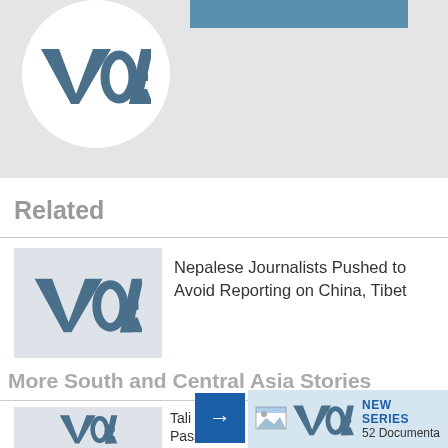[Figure (logo): VOA (Voice of America) logo in top banner area with light grey background, white circle containing VOA text logo, blue rectangle strip]
Related
[Figure (logo): VOA placeholder thumbnail for related article]
Nepalese Journalists Pushed to Avoid Reporting on China, Tibet
More South and Central Asia Stories
[Figure (logo): VOA placeholder thumbnail for more stories article]
Tali... Pass... Afgh...
[Figure (logo): VOA popup overlay with NEW SERIES label]
NEW SERIES
52 Documenta...